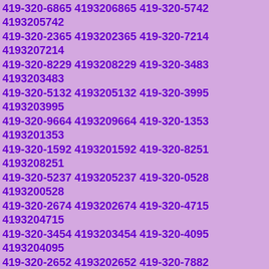419-320-6865 4193206865 419-320-5742 4193205742 419-320-2365 4193202365 419-320-7214 4193207214 419-320-8229 4193208229 419-320-3483 4193203483 419-320-5132 4193205132 419-320-3995 4193203995 419-320-9664 4193209664 419-320-1353 4193201353 419-320-1592 4193201592 419-320-8251 4193208251 419-320-5237 4193205237 419-320-0528 4193200528 419-320-2674 4193202674 419-320-4715 4193204715 419-320-3454 4193203454 419-320-4095 4193204095 419-320-2652 4193202652 419-320-7882 4193207882 419-320-9769 4193209769 419-320-6275 4193206275 419-320-6532 4193206532 419-320-6147 4193206147 419-320-1546 4193201546 419-320-8593 4193208593 419-320-1286 4193201286 419-320-2819 4193202819 419-320-0562 4193200562 419-320-7296 4193207296 419-320-9157 4193209157 419-320-8783 4193208783 419-320-1333 4193201333 419-320-4401 4193204401 419-320-4223 4193204223 419-320-1679 4193201679 419-320-2263 4193202263 419-320-1208 4193201208 419-320-9505 4193209505 419-320-6203 4193206203 419-320-8118 4193208118 419-320-7086 4193207086